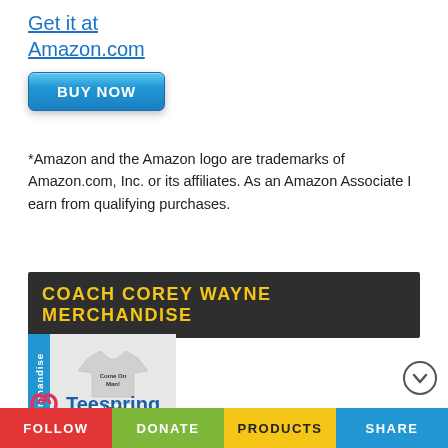Get it at Amazon.com
[Figure (other): Blue 'BUY NOW' button]
*Amazon and the Amazon logo are trademarks of Amazon.com, Inc. or its affiliates. As an Amazon Associate I earn from qualifying purchases.
COACH COREY WAYNE MERCHANDISE
[Figure (other): Merchandise image showing a t-shirt with 'Come On Man!' text and a mug with 'NO DRAMA ALLOWED', with a blue sidebar labeled 'merchandise']
[Figure (logo): Teespring logo with red infinity-like icon and blue 'Teespring' text]
T-Shirts & Mugs
FOLLOW  DONATE  PRODUCTS  SHARE